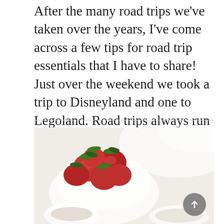After the many road trips we've taken over the years, I've come across a few tips for road trip essentials that I have to share! Just over the weekend we took a trip to Disneyland and one to Legoland. Road trips always run more smoothly with a good bag (or ...
READ MORE ›
[Figure (photo): A white bowl filled with fresh red strawberries with green tops, alongside small white bowls or containers, photographed on a white background with a clean, bright aesthetic.]